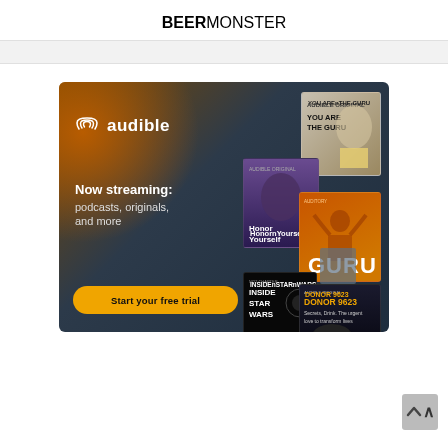BEERMONSTER
[Figure (screenshot): Audible advertisement banner with dark blue-brown gradient background. Shows 'audible' logo with WiFi-style icon, text 'Now streaming: podcasts, originals, and more', an orange 'Start your free trial' button, and several audiobook/podcast cover images including 'You Are the Guru', 'Honor Yourself', 'GURU', 'Inside Star Wars', and 'Donor 9623'.]